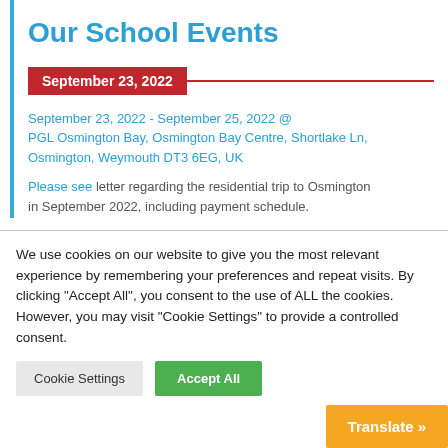Our School Events
September 23, 2022
September 23, 2022 - September 25, 2022 @ PGL Osmington Bay, Osmington Bay Centre, Shortlake Ln, Osmington, Weymouth DT3 6EG, UK
Please see letter regarding the residential trip to Osmington in September 2022, including payment schedule.
We use cookies on our website to give you the most relevant experience by remembering your preferences and repeat visits. By clicking "Accept All", you consent to the use of ALL the cookies. However, you may visit "Cookie Settings" to provide a controlled consent.
Cookie Settings
Accept All
Translate »